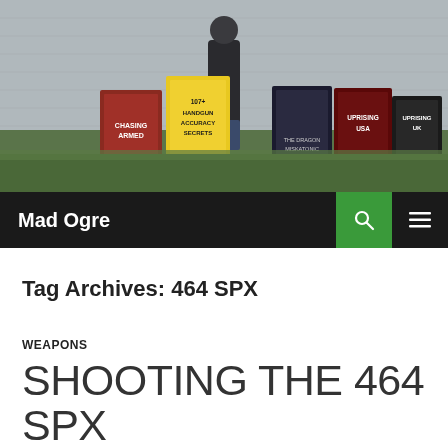[Figure (photo): Website header banner showing a man standing against a brick wall with several book covers arranged in front of him including titles about handgun accuracy secrets, uprising USA, uprising UK, and other books]
Mad Ogre
Tag Archives: 464 SPX
WEAPONS
SHOOTING THE 464 SPX
02/23/2015  19 COMMENTS